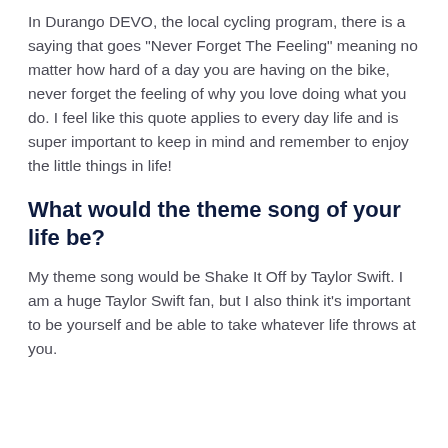In Durango DEVO, the local cycling program, there is a saying that goes "Never Forget The Feeling" meaning no matter how hard of a day you are having on the bike, never forget the feeling of why you love doing what you do. I feel like this quote applies to every day life and is super important to keep in mind and remember to enjoy the little things in life!
What would the theme song of your life be?
My theme song would be Shake It Off by Taylor Swift. I am a huge Taylor Swift fan, but I also think it's important to be yourself and be able to take whatever life throws at you.